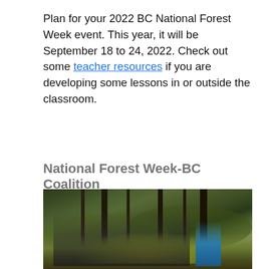Plan for your 2022 BC National Forest Week event. This year, it will be September 18 to 24, 2022. Check out some teacher resources if you are developing some lessons in or outside the classroom.
National Forest Week-BC Coalition
[Figure (photo): Students and a teacher gathered in a forest setting with tall conifer trees, yellow-green undergrowth and fallen leaves, during an outdoor nature lesson.]